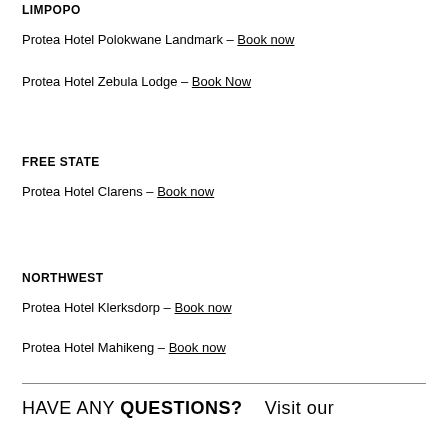LIMPOPO
Protea Hotel Polokwane Landmark – Book now
Protea Hotel Zebula Lodge – Book Now
FREE STATE
Protea Hotel Clarens – Book now
NORTHWEST
Protea Hotel Klerksdorp – Book now
Protea Hotel Mahikeng – Book now
HAVE ANY QUESTIONS? Visit our